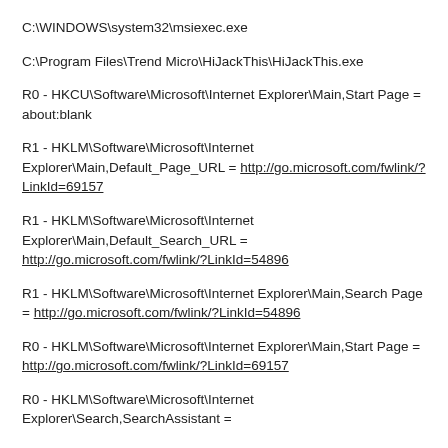C:\WINDOWS\system32\msiexec.exe
C:\Program Files\Trend Micro\HiJackThis\HiJackThis.exe
R0 - HKCU\Software\Microsoft\Internet Explorer\Main,Start Page = about:blank
R1 - HKLM\Software\Microsoft\Internet Explorer\Main,Default_Page_URL = http://go.microsoft.com/fwlink/?LinkId=69157
R1 - HKLM\Software\Microsoft\Internet Explorer\Main,Default_Search_URL = http://go.microsoft.com/fwlink/?LinkId=54896
R1 - HKLM\Software\Microsoft\Internet Explorer\Main,Search Page = http://go.microsoft.com/fwlink/?LinkId=54896
R0 - HKLM\Software\Microsoft\Internet Explorer\Main,Start Page = http://go.microsoft.com/fwlink/?LinkId=69157
R0 - HKLM\Software\Microsoft\Internet Explorer\Search,SearchAssistant =